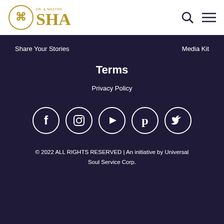[Figure (logo): Dr. & Master SHA logo with circular emblem and gold text]
Share Your Stories
Media Kit
Terms
Privacy Policy
[Figure (infographic): Five social media icons in white circles: Facebook, Instagram, YouTube, Pinterest, Twitter]
© 2022 ALL RIGHTS RESERVED | An initiative by Universal Soul Service Corp.